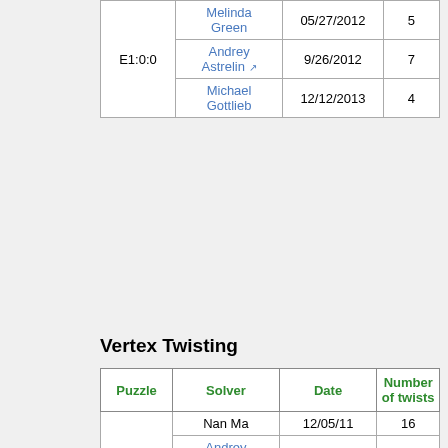| Puzzle | Solver | Date | Number of twists |
| --- | --- | --- | --- |
| E1:0:0 | Melinda Green | 05/27/2012 | 5 |
| E1:0:0 | Andrey Astrelin | 9/26/2012 | 7 |
| E1:0:0 | Michael Gottlieb | 12/12/2013 | 4 |
Vertex Twisting
| Puzzle | Solver | Date | Number of twists |
| --- | --- | --- | --- |
| V0:0:1 | Nan Ma | 12/05/11 | 16 |
| V0:0:1 | Andrey Astrelin | 9/26/2012 | 21 |
| V0:0:1 | Michael Gottlieb | 12/12/2013 | 10 |
| V0:0:1 | Eduard Baumann | 14/02/2014 | 20 |
| V2:0:0 | Andrey Astrelin | 9/26/2012 | 25 |
| V2:0:0 | Michael Gottlieb | 12/12/2013 | 18 |